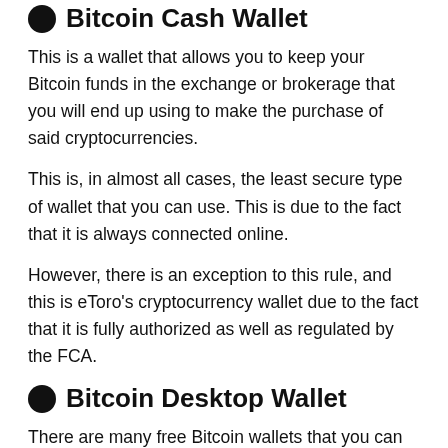Bitcoin Cash Wallet
This is a wallet that allows you to keep your Bitcoin funds in the exchange or brokerage that you will end up using to make the purchase of said cryptocurrencies.
This is, in almost all cases, the least secure type of wallet that you can use. This is due to the fact that it is always connected online.
However, there is an exception to this rule, and this is eToro's cryptocurrency wallet due to the fact that it is fully authorized as well as regulated by the FCA.
Bitcoin Desktop Wallet
There are many free Bitcoin wallets that you can download directly to your device. This means that this is a wallet that you can download and install on your desktop computer or laptop.